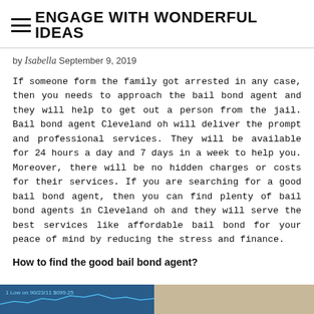ENGAGE WITH WONDERFUL IDEAS
by Isabella September 9, 2019
If someone form the family got arrested in any case, then you needs to approach the bail bond agent and they will help to get out a person from the jail. Bail bond agent Cleveland oh will deliver the prompt and professional services. They will be available for 24 hours a day and 7 days in a week to help you. Moreover, there will be no hidden charges or costs for their services. If you are searching for a good bail bond agent, then you can find plenty of bail bond agents in Cleveland oh and they will serve the best services like affordable bail bond for your peace of mind by reducing the stress and finance.
How to find the good bail bond agent?
[Figure (screenshot): A financial chart or screenshot visible at the bottom of the page, partially cropped]